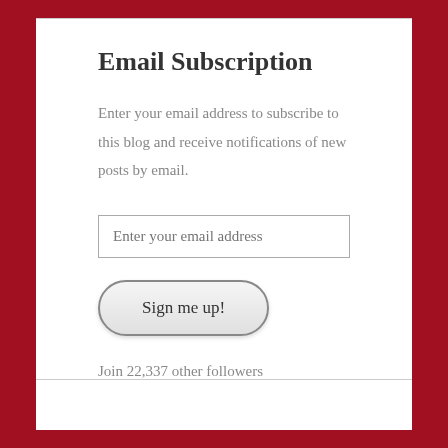Email Subscription
Enter your email address to subscribe to this blog and receive notifications of new posts by email.
[Figure (other): Email input field with placeholder text 'Enter your email address']
[Figure (other): Button labeled 'Sign me up!' with rounded pill shape and gradient background]
Join 22,337 other followers